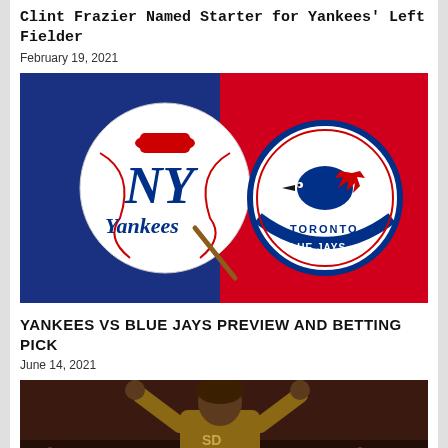Clint Frazier Named Starter for Yankees' Left Fielder
February 19, 2021
[Figure (photo): Yankees vs Blue Jays team logos side by side — Yankees logo on blue background left, Blue Jays logo on red background right]
YANKEES VS BLUE JAYS PREVIEW AND BETTING PICK
June 14, 2021
[Figure (photo): Baseball player in brown/tan Padres uniform with arms raised, celebrating]